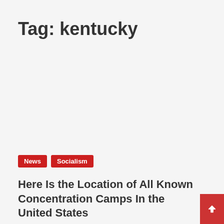Tag: kentucky
News
Socialism
Here Is the Location of All Known Concentration Camps In the United States